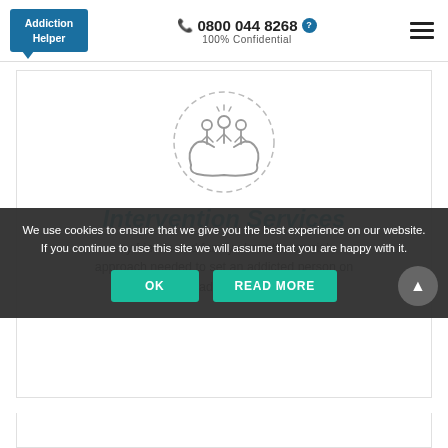[Figure (logo): Addiction Helper logo - blue box with white text and speech bubble tail]
📞 0800 044 8268 ? 100% Confidential
[Figure (illustration): Circular dashed border icon with hands holding a group of people (care/support icon)]
Intervention Services
by friends and family about the crucial approach needed to set an addicted person on the road to recovery.
We use cookies to ensure that we give you the best experience on our website. If you continue to use this site we will assume that you are happy with it.